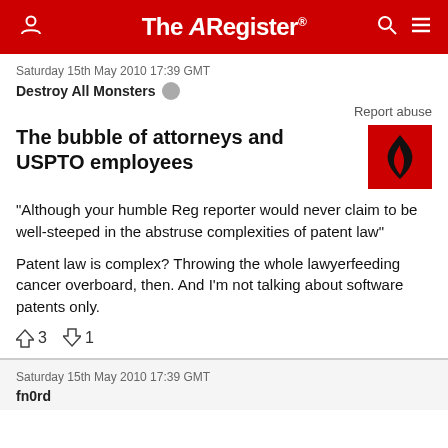The Register
Saturday 15th May 2010 17:39 GMT
Destroy All Monsters
Report abuse
The bubble of attorneys and USPTO employees
[Figure (illustration): Red square icon with black flame symbol]
"Although your humble Reg reporter would never claim to be well-steeped in the abstruse complexities of patent law"
Patent law is complex? Throwing the whole lawyerfeeding cancer overboard, then. And I'm not talking about software patents only.
↑3  ↓1
Saturday 15th May 2010 17:39 GMT
fn0rd